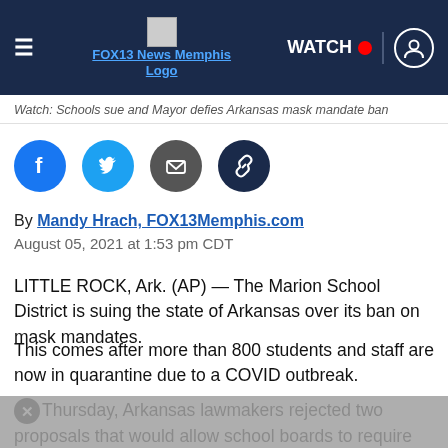FOX13 News Memphis Logo | WATCH | User icon
Watch: Schools sue and Mayor defies Arkansas mask mandate ban
[Figure (infographic): Social sharing icons: Facebook (blue circle), Twitter (light blue circle), Email (dark grey circle), Link (dark navy circle)]
By Mandy Hrach, FOX13Memphis.com
August 05, 2021 at 1:53 pm CDT
LITTLE ROCK, Ark. (AP) — The Marion School District is suing the state of Arkansas over its ban on mask mandates.
This comes after more than 800 students and staff are now in quarantine due to a COVID outbreak.
On Thursday, Arkansas lawmakers rejected two proposals that would allow school boards to require masks in the classroom.